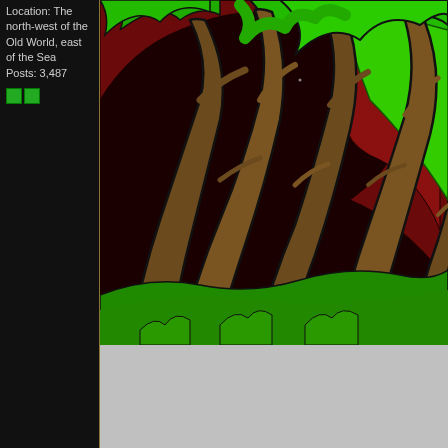Location: The north-west of the Old World, east of the Sea
Posts: 3,487
[Figure (illustration): Digital illustration of stylized trees with brown trunks and bright green foliage against a dark red/maroon night sky background, with green grass at the bottom. The trees are bent as if in wind. Art style is cartoon/comic with thick black outlines.]